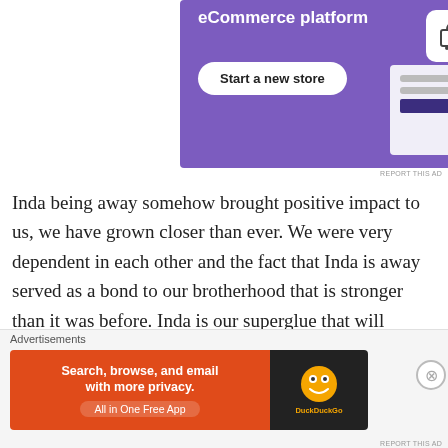[Figure (screenshot): Purple eCommerce platform advertisement banner with 'eCommerce platform' title, 'Start a new store' button, cart icon, and browser mockup illustration]
Inda being away somehow brought positive impact to us, we have grown closer than ever. We were very dependent in each other and the fact that Inda is away served as a bond to our brotherhood that is stronger than it was before. Inda is our superglue that will forever bond us.
Inda works in a hotel in Saipan as a housekeeper,
[Figure (screenshot): DuckDuckGo advertisement banner with orange left panel saying 'Search, browse, and email with more privacy. All in One Free App' and dark right panel with DuckDuckGo logo]